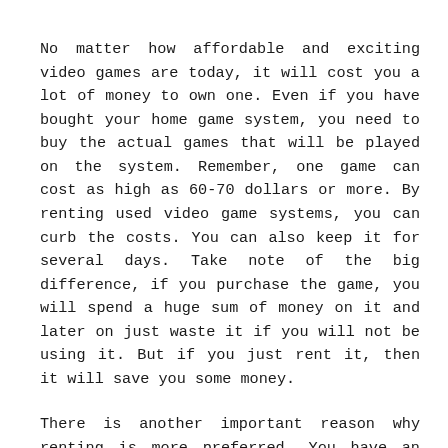No matter how affordable and exciting video games are today, it will cost you a lot of money to own one. Even if you have bought your home game system, you need to buy the actual games that will be played on the system. Remember, one game can cost as high as 60-70 dollars or more. By renting used video game systems, you can curb the costs. You can also keep it for several days. Take note of the big difference, if you purchase the game, you will spend a huge sum of money on it and later on just waste it if you will not be using it. But if you just rent it, then it will save you some money.
There is another important reason why renting is more preferred. You have an option to test the game that you would like to purchase. Being the user, you are given the chance to play the game for several times before the actual purchase. In this way, you could make